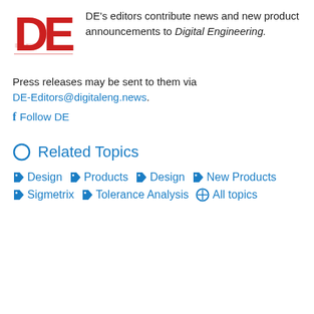[Figure (logo): Digital Engineering magazine logo with large red 'DE' letters]
DE's editors contribute news and new product announcements to Digital Engineering. Press releases may be sent to them via DE-Editors@digitaleng.news.
Follow DE
Related Topics
Design
Products
Design
New Products
Sigmetrix
Tolerance Analysis
All topics